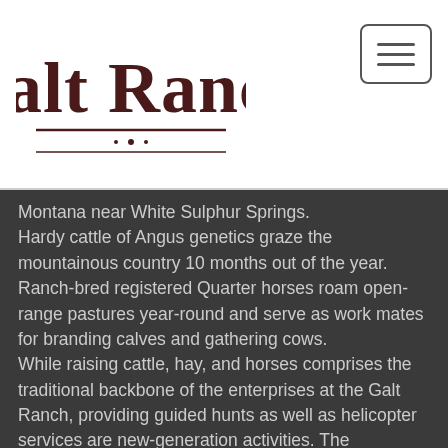[Figure (logo): Galt Ranch logo with stylized serif text and decorative underline]
Montana near White Sulphur Springs.
Hardy cattle of Angus genetics graze the mountainous country 10 months out of the year. Ranch-bred registered Quarter horses roam open-range pastures year-round and serve as work mates for branding calves and gathering cows.
While raising cattle, hay, and horses comprises the traditional backbone of the enterprises at the Galt Ranch, providing guided hunts as well as helicopter services are new-generation activities. The helicopter helps to accomplish critical ranch work such as locating cattle, fighting fires, and hunting predators.